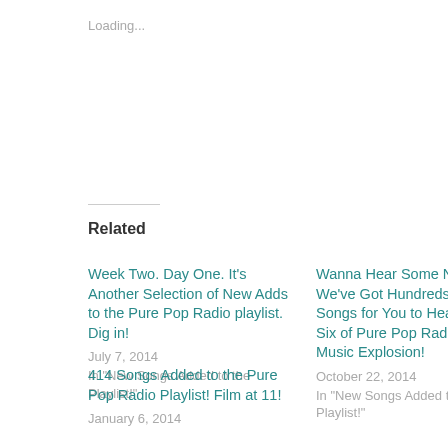Loading...
Related
Week Two. Day One. It's Another Selection of New Adds to the Pure Pop Radio playlist. Dig in!
July 7, 2014
In "New Songs Added to the Playlist!"
Wanna Hear Some New Music? We've Got Hundreds of New Songs for You to Hear! It's Day Six of Pure Pop Radio's New Music Explosion!
October 22, 2014
In "New Songs Added to the Playlist!"
414 Songs Added to the Pure Pop Radio Playlist! Film at 11!
January 6, 2014